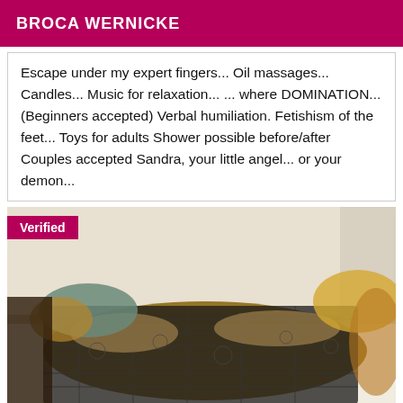BROCA WERNICKE
Escape under my expert fingers... Oil massages... Candles... Music for relaxation... ... where DOMINATION...(Beginners accepted) Verbal humiliation. Fetishism of the feet... Toys for adults Shower possible before/after Couples accepted Sandra, your little angel... or your demon...
[Figure (photo): Woman lying on bed wearing black lace lingerie with a Verified badge overlay in the top-left corner]